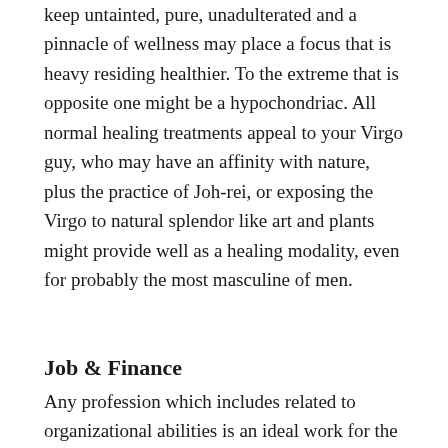keep untainted, pure, unadulterated and a pinnacle of wellness may place a focus that is heavy residing healthier. To the extreme that is opposite one might be a hypochondriac. All normal healing treatments appeal to your Virgo guy, who may have an affinity with nature, plus the practice of Joh-rei, or exposing the Virgo to natural splendor like art and plants might provide well as a healing modality, even for probably the most masculine of men.
Job & Finance
Any profession which includes related to organizational abilities is an ideal work for the Virgo guy. He loves to share knowledge, so he is effective as a instructor or teammate or guide. The Virgo frequently respects his elders and authorities. Never about self-promotion, the Virgo